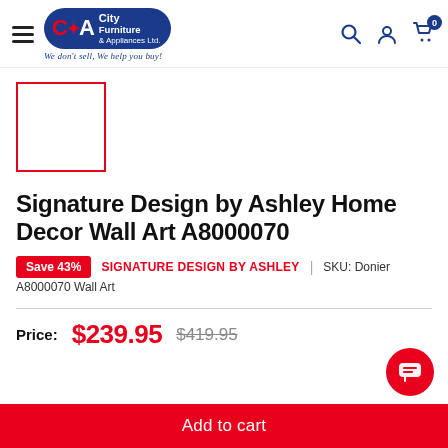[Figure (logo): City Furniture & Appliances Ltd. logo with CFA branding and slogan 'We don't sell, We help you buy!']
[Figure (photo): Empty product image placeholder with red border]
Signature Design by Ashley Home Decor Wall Art A8000070
Save 43%  SIGNATURE DESIGN BY ASHLEY  |  SKU: Donier A8000070 Wall Art
Price: $239.95  $419.95
Add to cart